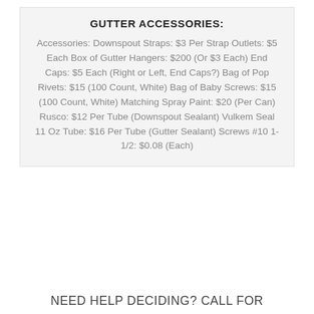GUTTER ACCESSORIES:
Accessories: Downspout Straps: $3 Per Strap Outlets: $5 Each Box of Gutter Hangers: $200 (Or $3 Each) End Caps: $5 Each (Right or Left, End Caps?) Bag of Pop Rivets: $15 (100 Count, White) Bag of Baby Screws: $15 (100 Count, White) Matching Spray Paint: $20 (Per Can) Rusco: $12 Per Tube (Downspout Sealant) Vulkem Seal 11 Oz Tube: $16 Per Tube (Gutter Sealant) Screws #10 1-1/2: $0.08 (Each)
NEED HELP DECIDING? CALL FOR